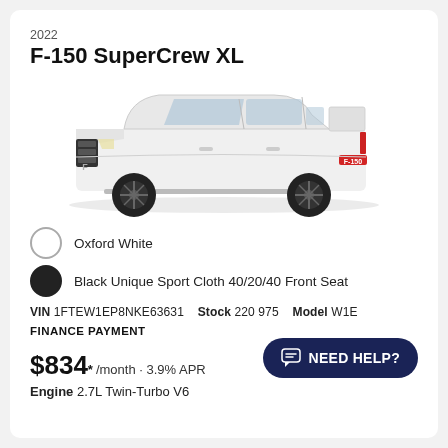2022
F-150 SuperCrew XL
[Figure (illustration): Side profile of a 2022 Ford F-150 SuperCrew XL pickup truck in Oxford White with black wheels]
Oxford White
Black Unique Sport Cloth 40/20/40 Front Seat
VIN 1FTEW1EP8NKE63631   Stock 220975   Model W1E
FINANCE PAYMENT
$834* /month · 3.9% APR
Engine 2.7L Twin-Turbo V6